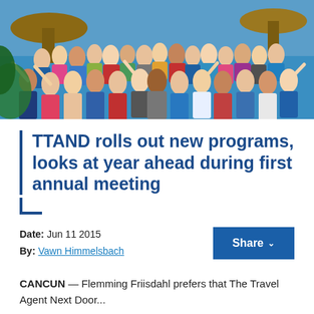[Figure (photo): Large group photo of travel agents and conference attendees posing outdoors near a resort pool with thatched-roof palapas and blue water in the background, waving and smiling at the camera.]
TTAND rolls out new programs, looks at year ahead during first annual meeting
Date: Jun 11 2015
By: Vawn Himmelsbach
Share
CANCUN — Flemming Friisdahl prefers that The Travel Agent Next Door...